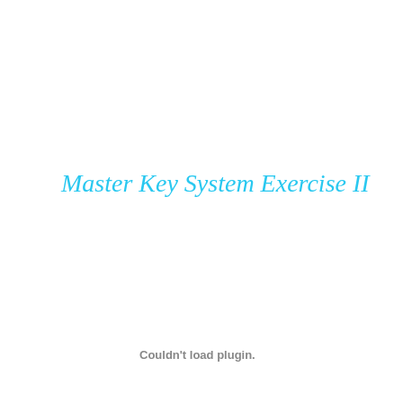Master Key System Exercise II
Couldn't load plugin.